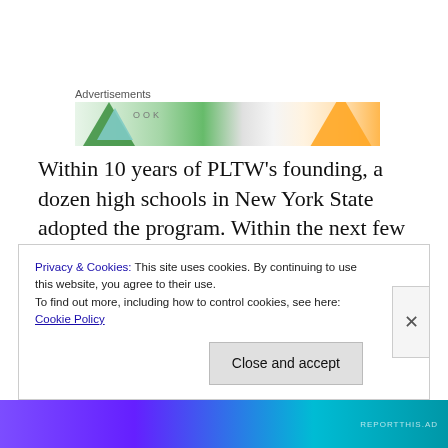[Figure (other): Advertisement banner with colorful triangles and BOOK text]
Within 10 years of PLTW's founding, a dozen high schools in New York State adopted the program. Within the next few years high schools in 30 states were using PLTW's “Pathway to Engineering Program.” Soon after, PLTW was a major national program, which used innovative activities of project and problem-based
Privacy & Cookies: This site uses cookies. By continuing to use this website, you agree to their use. To find out more, including how to control cookies, see here: Cookie Policy
Close and accept